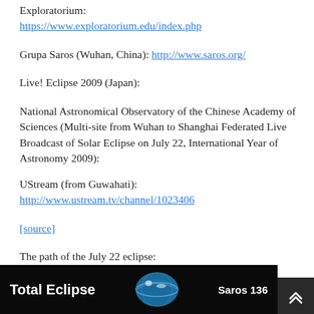Exploratorium: https://www.exploratorium.edu/index.php
Grupa Saros (Wuhan, China): http://www.saros.org/
Live! Eclipse 2009 (Japan):
National Astronomical Observatory of the Chinese Academy of Sciences (Multi-site from Wuhan to Shanghai Federated Live Broadcast of Solar Eclipse on July 22, International Year of Astronomy 2009):
UStream (from Guwahati): http://www.ustream.tv/channel/1023406
[source]
The path of the July 22 eclipse:
[Figure (photo): Image strip showing 'Total Eclipse' text on dark background with globe and 'Saros 136' label]